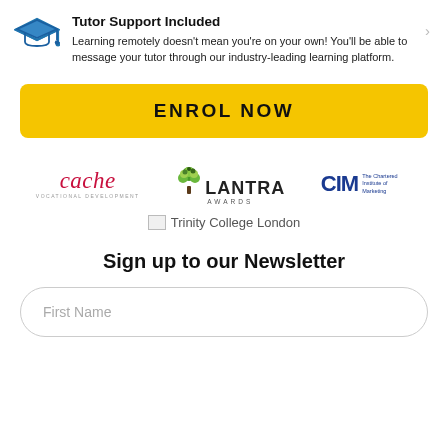Tutor Support Included
Learning remotely doesn't mean you're on your own! You'll be able to message your tutor through our industry-leading learning platform.
ENROL NOW
[Figure (logo): cache logo in red italic serif font]
[Figure (logo): Lantra Awards logo with green tree graphic]
[Figure (logo): CIM - The Chartered Institute of Marketing logo in blue]
[Figure (logo): Trinity College London logo (broken image placeholder with text)]
Sign up to our Newsletter
First Name